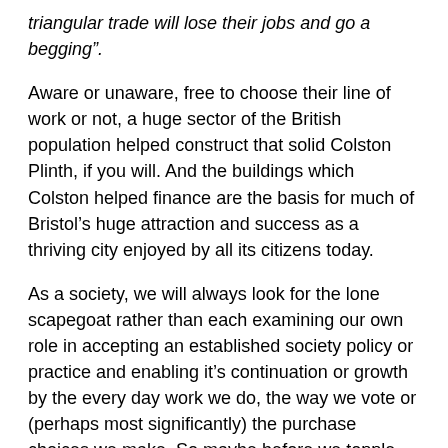triangular trade will lose their jobs and go a begging”.
Aware or unaware, free to choose their line of work or not, a huge sector of the British population helped construct that solid Colston Plinth, if you will. And the buildings which Colston helped finance are the basis for much of Bristol’s huge attraction and success as a thriving city enjoyed by all its citizens today.
As a society, we will always look for the lone scapegoat rather than each examining our own role in accepting an established society policy or practice and enabling it’s continuation or growth by the every day work we do, the way we vote or (perhaps most significantly) the purchase choices we make. So maybe before we topple the next statue, we need to consider what solid plinths we are are helping build or maintain today?